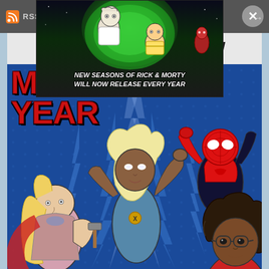[Figure (screenshot): Dark gray top navigation bar with RSS icon and text, close button (X) in gray circle at top right]
[Figure (illustration): Rick and Morty animated advertisement popup showing Rick and Morty characters in front of a green portal on dark background with text: NEW SEASONS OF RICK & MORTY WILL NOW RELEASE EVERY YEAR]
JOIN OUR CLUB!
[Figure (illustration): Marvel comic book style illustration titled MY ULTIMATE YEAR showing superhero characters including Thor, Storm (X-Men), Miles Morales Spider-Man, and a young Black girl with glasses reading a book, against a blue background with white lightning bolt patterns]
MY ULTIMATE YEAR